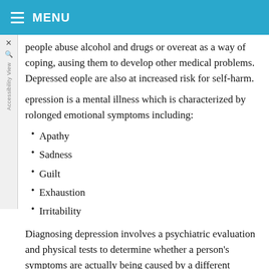MENU
people abuse alcohol and drugs or overeat as a way of coping, ausing them to develop other medical problems. Depressed eople are also at increased risk for self-harm.
epression is a mental illness which is characterized by rolonged emotional symptoms including:
Apathy
Sadness
Guilt
Exhaustion
Irritability
Diagnosing depression involves a psychiatric evaluation and physical tests to determine whether a person's symptoms are actually being caused by a different disorder. A person must have been experiencing symptoms for at least two weeks to be